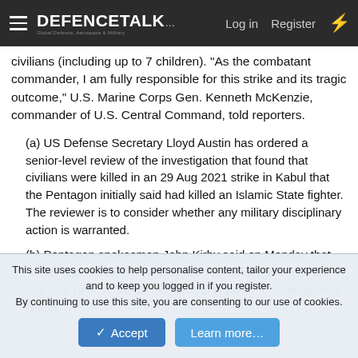DEFENCETALK | Log in | Register
civilians (including up to 7 children). "As the combatant commander, I am fully responsible for this strike and its tragic outcome," U.S. Marine Corps Gen. Kenneth McKenzie, commander of U.S. Central Command, told reporters.
(a) US Defense Secretary Lloyd Austin has ordered a senior-level review of the investigation that found that civilians were killed in an 29 Aug 2021 strike in Kabul that the Pentagon initially said had killed an Islamic State fighter. The reviewer is to consider whether any military disciplinary action is warranted.
(b) Pentagon spokesman John Kirby said on Monday that Austin told the Air Force to appoint an officer at three- or four-star rank to review the Central Command investigation, which
This site uses cookies to help personalise content, tailor your experience and to keep you logged in if you register.
By continuing to use this site, you are consenting to our use of cookies.